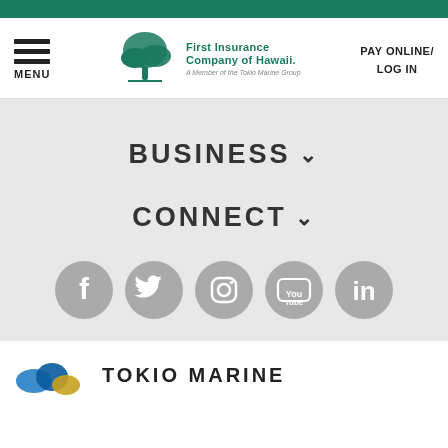[Figure (logo): Teal top navigation bar]
[Figure (logo): First Insurance Company of Hawaii logo with tree icon and tagline 'A Member of the Tokio Marine Group']
MENU
PAY ONLINE/ LOG IN
BUSINESS ˅
CONNECT ˅
[Figure (infographic): Row of 5 gray circular social media icons: Facebook, Twitter, Instagram, YouTube, LinkedIn]
[Figure (logo): Tokio Marine logo partially visible at bottom]